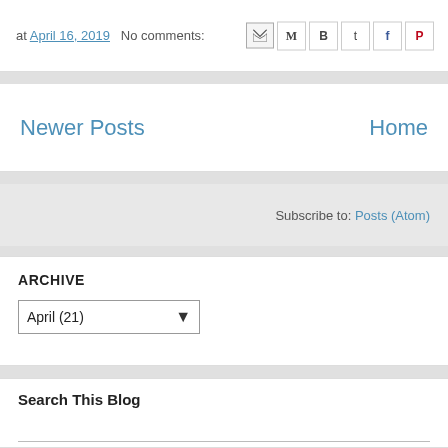at April 16, 2019   No comments:
Newer Posts
Home
Subscribe to: Posts (Atom)
ARCHIVE
April (21)
Search This Blog
[Figure (other): Donate button and payment method icons (Visa, Mastercard, Mastercard, American Express, Discover, other)]